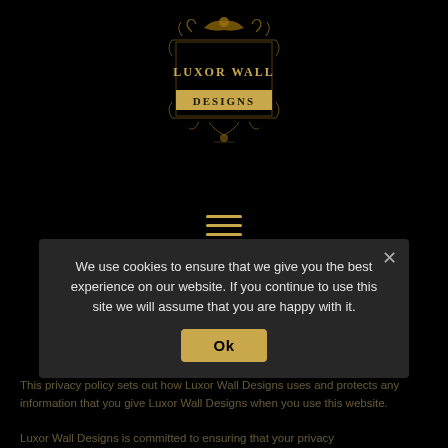[Figure (logo): Luxor Wall Designs logo with ornate gold decorative border, text reads LUXOR WALL DESIGNS on black background]
[Figure (other): Hamburger menu icon with three horizontal gold lines]
This privacy policy sets out how Luxor Wall Designs uses and protects any information that you give Luxor Wall Designs when you use this website.

Luxor Wall Designs is committed to ensuring that your privacy
We use cookies to ensure that we give you the best experience on our website. If you continue to use this site we will assume that you are happy with it.
Ok